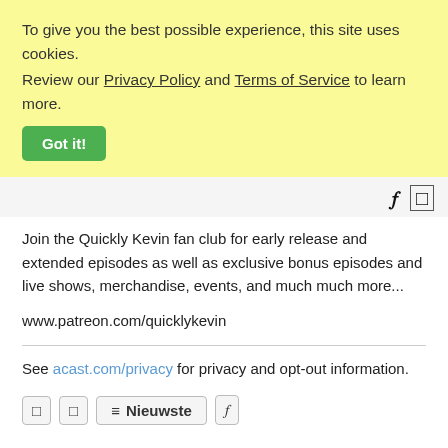To give you the best possible experience, this site uses cookies. Review our Privacy Policy and Terms of Service to learn more.
Got it!
Join the Quickly Kevin fan club for early release and extended episodes as well as exclusive bonus episodes and live shows, merchandise, events, and much much more...
www.patreon.com/quicklykevin
See acast.com/privacy for privacy and opt-out information.
Nieuwste